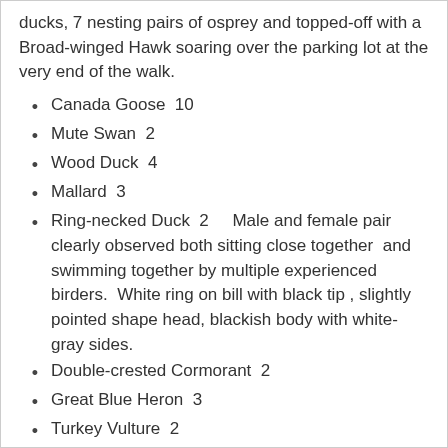ducks, 7 nesting pairs of osprey and topped-off with a Broad-winged Hawk soaring over the parking lot at the very end of the walk.
Canada Goose  10
Mute Swan  2
Wood Duck  4
Mallard  3
Ring-necked Duck  2    Male and female pair clearly observed both sitting close together  and swimming together by multiple experienced birders.  White ring on bill with black tip , slightly pointed shape head, blackish body with white-gray sides.
Double-crested Cormorant  2
Great Blue Heron  3
Turkey Vulture  2
Osprey  14
Broad-winged Hawk  1
Mourning Dove  3
Downy Woodpecker  5
Hairy Woodpecker  2